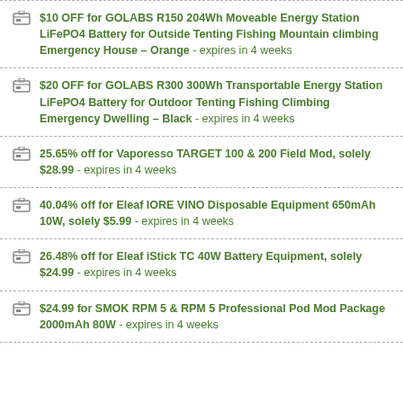$10 OFF for GOLABS R150 204Wh Moveable Energy Station LiFePO4 Battery for Outside Tenting Fishing Mountain climbing Emergency House – Orange - expires in 4 weeks
$20 OFF for GOLABS R300 300Wh Transportable Energy Station LiFePO4 Battery for Outdoor Tenting Fishing Climbing Emergency Dwelling – Black - expires in 4 weeks
25.65% off for Vaporesso TARGET 100 & 200 Field Mod, solely $28.99 - expires in 4 weeks
40.04% off for Eleaf IORE VINO Disposable Equipment 650mAh 10W, solely $5.99 - expires in 4 weeks
26.48% off for Eleaf iStick TC 40W Battery Equipment, solely $24.99 - expires in 4 weeks
$24.99 for SMOK RPM 5 & RPM 5 Professional Pod Mod Package 2000mAh 80W - expires in 4 weeks